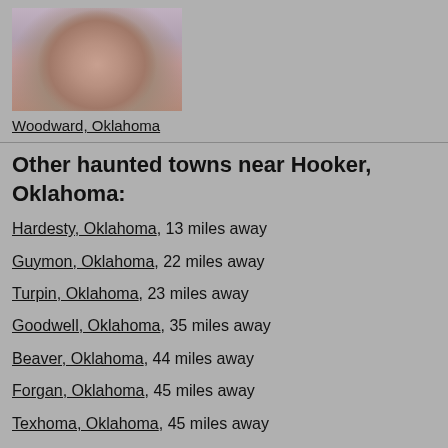[Figure (photo): Close-up photo of a person's face, showing nose and lower face area, slightly blurry]
Woodward, Oklahoma
Other haunted towns near Hooker, Oklahoma:
Hardesty, Oklahoma, 13 miles away
Guymon, Oklahoma, 22 miles away
Turpin, Oklahoma, 23 miles away
Goodwell, Oklahoma, 35 miles away
Beaver, Oklahoma, 44 miles away
Forgan, Oklahoma, 45 miles away
Texhoma, Oklahoma, 45 miles away
Laverne, Oklahoma, 90 miles away